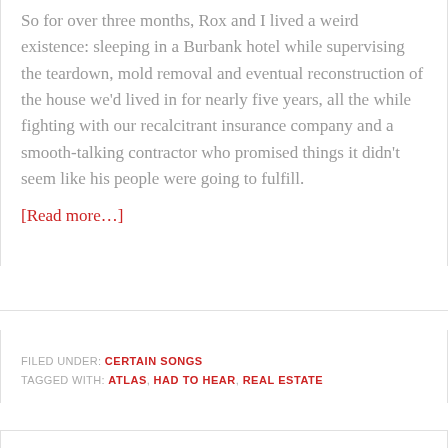So for over three months, Rox and I lived a weird existence: sleeping in a Burbank hotel while supervising the teardown, mold removal and eventual reconstruction of the house we'd lived in for nearly five years, all the while fighting with our recalcitrant insurance company and a smooth-talking contractor who promised things it didn't seem like his people were going to fulfill.
[Read more…]
FILED UNDER: CERTAIN SONGS
TAGGED WITH: ATLAS, HAD TO HEAR, REAL ESTATE